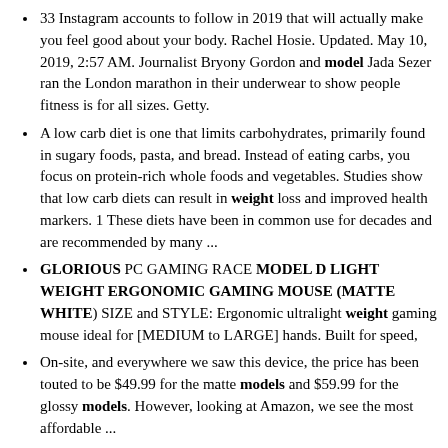33 Instagram accounts to follow in 2019 that will actually make you feel good about your body. Rachel Hosie. Updated. May 10, 2019, 2:57 AM. Journalist Bryony Gordon and model Jada Sezer ran the London marathon in their underwear to show people fitness is for all sizes. Getty.
A low carb diet is one that limits carbohydrates, primarily found in sugary foods, pasta, and bread. Instead of eating carbs, you focus on protein-rich whole foods and vegetables. Studies show that low carb diets can result in weight loss and improved health markers. 1 These diets have been in common use for decades and are recommended by many ...
GLORIOUS PC GAMING RACE MODEL D LIGHT WEIGHT ERGONOMIC GAMING MOUSE (MATTE WHITE) SIZE and STYLE: Ergonomic ultralight weight gaming mouse ideal for [MEDIUM to LARGE] hands. Built for speed,
On-site, and everywhere we saw this device, the price has been touted to be $49.99 for the matte models and $59.99 for the glossy models. However, looking at Amazon, we see the most affordable ...
The Bottom Line. Apple's iPhone 13 Pro should be your go-to smartphone option if you want reliable all-day battery life and an almost too-good-to-be-true trio of cameras. But its weight and high ...